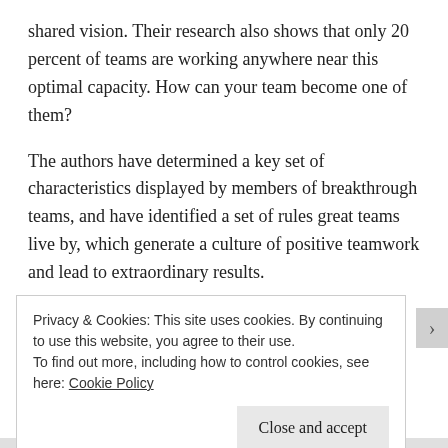shared vision. Their research also shows that only 20 percent of teams are working anywhere near this optimal capacity. How can your team become one of them?
The authors have determined a key set of characteristics displayed by members of breakthrough teams, and have identified a set of rules great teams live by, which generate a culture of positive teamwork and lead to extraordinary results.
The Orange Revolution provides a simple and powerful
Privacy & Cookies: This site uses cookies. By continuing to use this website, you agree to their use.
To find out more, including how to control cookies, see here: Cookie Policy
Close and accept